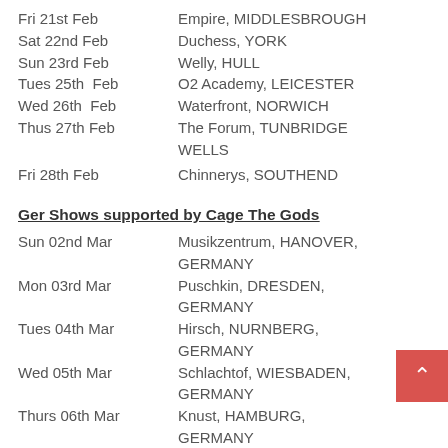Fri 21st Feb   Empire, MIDDLESBROUGH
Sat 22nd Feb   Duchess, YORK
Sun 23rd Feb   Welly, HULL
Tues 25th Feb   O2 Academy, LEICESTER
Wed 26th Feb   Waterfront, NORWICH
Thus 27th Feb   The Forum, TUNBRIDGE WELLS
Fri 28th Feb   Chinnerys, SOUTHEND
Ger Shows supported by Cage The Gods
Sun 02nd Mar   Musikzentrum, HANOVER, GERMANY
Mon 03rd Mar   Puschkin, DRESDEN, GERMANY
Tues 04th Mar   Hirsch, NURNBERG, GERMANY
Wed 05th Mar   Schlachtof, WIESBADEN, GERMANY
Thurs 06th Mar   Knust, HAMBURG, GERMANY
Mar Shows supported by Black Wolf